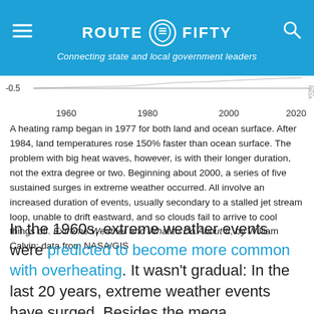ROUTE FIFTY — Connecting state and local government leaders
[Figure (continuous-plot): Partial view of a line/area chart showing temperature anomaly data from approximately 1955 to 2025, with y-axis label showing -0.5 and x-axis labels 1960, 1980, 2000, 2020. NASA/GIS data attribution visible.]
A heating ramp began in 1977 for both land and ocean surface. After 1984, land temperatures rose 150% faster than ocean surface. The problem with big heat waves, however, is with their longer duration, not the extra degree or two. Beginning about 2000, a series of five sustained surges in extreme weather occurred. All involve an increased duration of events, usually secondary to a stalled jet stream loop, unable to drift eastward, and so clouds fail to arrive to cool things off. Extreme Weather and What to Do About It, by William Calvin; data from NASA/GIS
In the 1960s, extreme weather events were predicted to become more common with overheating. It wasn't gradual: In the last 20 years, extreme weather events have surged. Besides the mega heatwaves, the number of